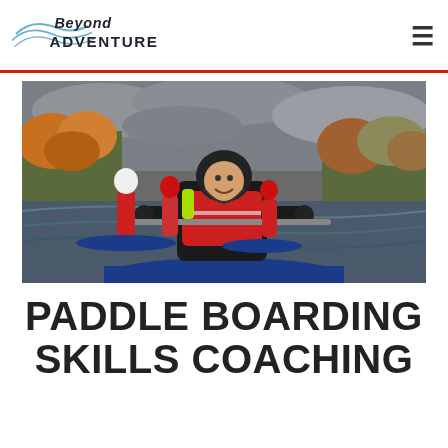Beyond Adventure
[Figure (photo): Group of people paddle boarding on a river. In the foreground, a smiling person in a black wetsuit and red life jacket kneels on a blue paddleboard holding a paddle. In the background, several other people stand on paddleboards, wearing helmets and life jackets. Trees with autumn foliage line the riverbank under a cloudy sky.]
PADDLE BOARDING SKILLS COACHING